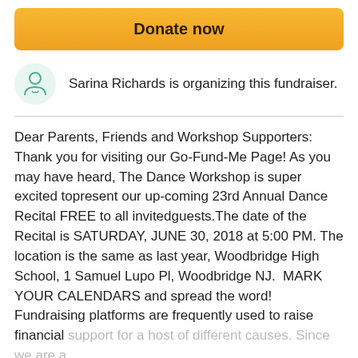Donate now
Sarina Richards is organizing this fundraiser.
Dear Parents, Friends and Workshop Supporters:   Thank you for visiting our Go-Fund-Me Page! As you may have heard, The Dance Workshop is super excited topresent our up-coming 23rd Annual Dance Recital FREE to all invitedguests.The date of the Recital is SATURDAY, JUNE 30, 2018 at 5:00 PM. The location is the same as last year, Woodbridge High School, 1 Samuel Lupo Pl, Woodbridge NJ.  MARK YOUR CALENDARS and spread the word! Fundraising platforms are frequently used to raise financial support for a host of different causes. Since we are a
Read more
Donate
Share